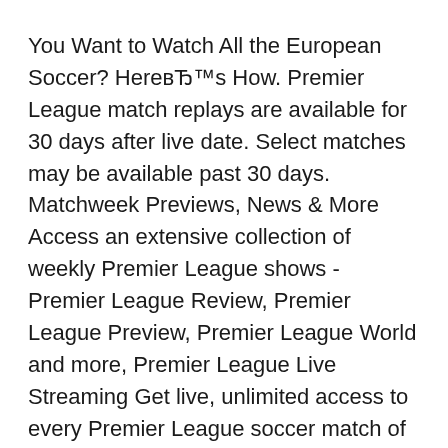You Want to Watch All the European Soccer? HereвЂ™s How. Premier League match replays are available for 30 days after live date. Select matches may be available past 30 days. Matchweek Previews, News & More Access an extensive collection of weekly Premier League shows - Premier League Review, Premier League Preview, Premier League World and more, Premier League Live Streaming Get live, unlimited access to every Premier League soccer match of the 2019-2020 season exclusively on DAZN. Stream all 380 matches in HD for just $20/month or $150/year..